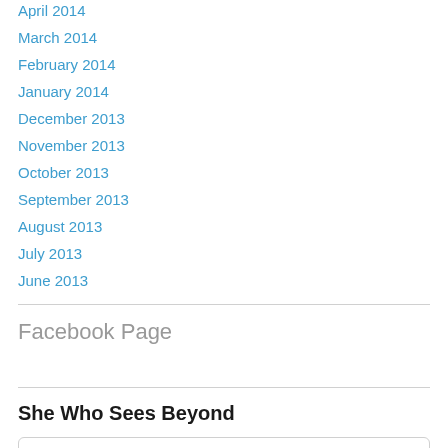April 2014
March 2014
February 2014
January 2014
December 2013
November 2013
October 2013
September 2013
August 2013
July 2013
June 2013
Facebook Page
She Who Sees Beyond